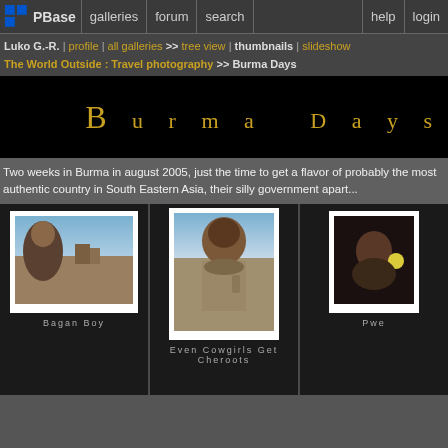PBase | galleries | forum | search | help | login
Luko G.-R. | profile | all galleries >> tree view | thumbnails | slideshow
The World Outside : Travel photography >> Burma Days
[Figure (photo): Black banner with 'Burma Days' text in gold/tan spaced lettering]
Two weeks in Burma in august 2005, just the time to get a flavor of probably the most authentic country in South Eastern Asia, their silly government apart...
[Figure (photo): Bagan Boy - photo of a young boy with ruins and sky in background]
Bagan Boy
[Figure (photo): Even Cowgirls Get Cheroots - photo of a smiling woman carrying a bucket]
Even Cowgirls Get Cheroots
[Figure (photo): Pwe - partial photo visible, dark image with light]
Pwe